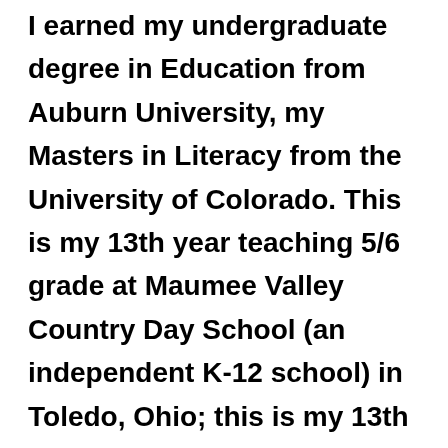I earned my undergraduate degree in Education from Auburn University, my Masters in Literacy from the University of Colorado. This is my 13th year teaching 5/6 grade at Maumee Valley Country Day School (an independent K-12 school) in Toledo, Ohio; this is my 13th year here. I teach Reading and Social Studies to combined 5/6 classes, and Writing to 6th graders. I am also the English